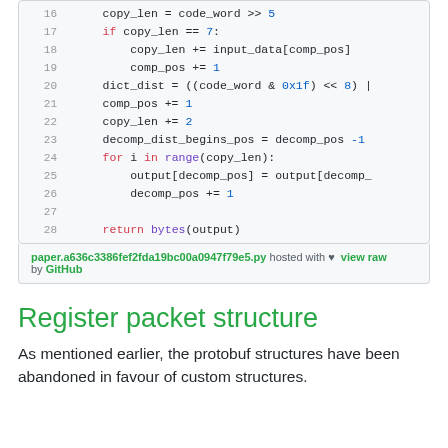[Figure (screenshot): Code block showing Python source code lines 16-28, with syntax highlighting. Keywords in red, numbers and hex values in blue, function names in purple. Lines show copy_len, dict_dist, decomp_dist_begins_pos calculations, a for loop, and return statement.]
paper.a636c3386fef2fda19bc00a0947f79e5.py hosted with ♥ view raw by GitHub
Register packet structure
As mentioned earlier, the protobuf structures have been abandoned in favour of custom structures.